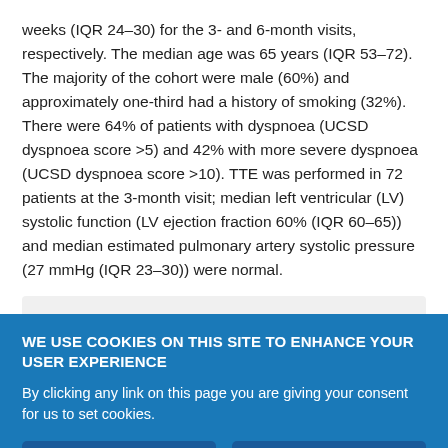weeks (IQR 24–30) for the 3- and 6-month visits, respectively. The median age was 65 years (IQR 53–72). The majority of the cohort were male (60%) and approximately one-third had a history of smoking (32%). There were 64% of patients with dyspnoea (UCSD dyspnoea score >5) and 42% with more severe dyspnoea (UCSD dyspnoea score >10). TTE was performed in 72 patients at the 3-month visit; median left ventricular (LV) systolic function (LV ejection fraction 60% (IQR 60–65)) and median estimated pulmonary artery systolic pressure (27 mmHg (IQR 23–30)) were normal.
[Figure (other): Partially visible gray content box/widget, cut off at bottom of text area]
WE USE COOKIES ON THIS SITE TO ENHANCE YOUR USER EXPERIENCE
By clicking any link on this page you are giving your consent for us to set cookies.